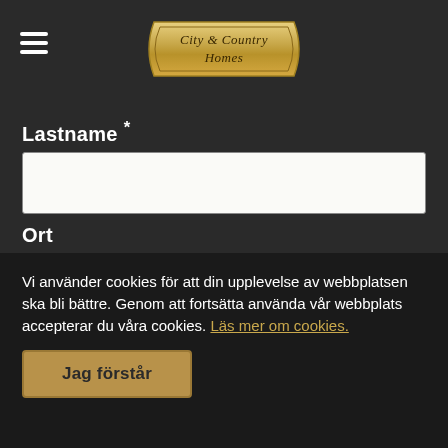City & Country Homes
Lastname *
Ort
Cellphone *
Address
Vi använder cookies för att din upplevelse av webbplatsen ska bli bättre. Genom att fortsätta använda vår webbplats accepterar du våra cookies. Läs mer om cookies.
Jag förstår